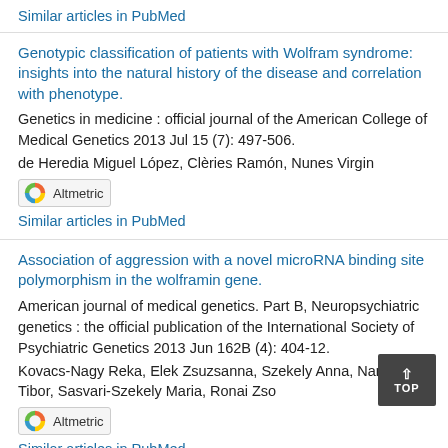Similar articles in PubMed
Genotypic classification of patients with Wolfram syndrome: insights into the natural history of the disease and correlation with phenotype.
Genetics in medicine : official journal of the American College of Medical Genetics 2013 Jul 15 (7): 497-506.
de Heredia Miguel López, Clèries Ramón, Nunes Virgin
[Figure (other): Altmetric badge with rainbow donut logo]
Similar articles in PubMed
Association of aggression with a novel microRNA binding site polymorphism in the wolframin gene.
American journal of medical genetics. Part B, Neuropsychiatric genetics : the official publication of the International Society of Psychiatric Genetics 2013 Jun 162B (4): 404-12.
Kovacs-Nagy Reka, Elek Zsuzsanna, Szekely Anna, Nanasi Tibor, Sasvari-Szekely Maria, Ronai Zso
[Figure (other): Altmetric badge with rainbow donut logo]
Similar articles in PubMed
Polycystic ovary syndrome is not associated with genetic variants